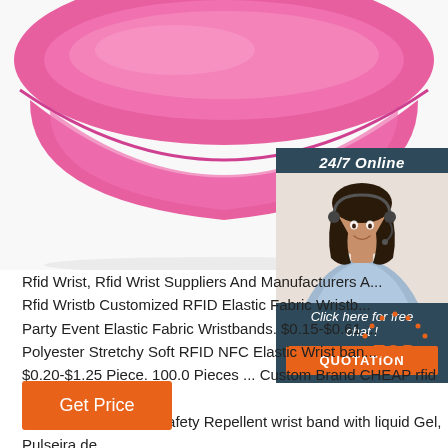[Figure (photo): Close-up photo of a pink silicone RFID wristband against a white background]
[Figure (photo): 24/7 Online chat widget with photo of smiling female customer service agent wearing headset, dark teal background, with 'Click here for free chat!' text and orange QUOTATION button]
Rfid Wrist, Rfid Wrist Suppliers And Manufacturers A... Rfid Wristb Customized RFID Elastic Fabric Wristb... Party Event Elastic Fabric Wristbands. $0.15-$0.61 ... Polyester Stretchy Soft RFID NFC Elastic Wrist ban... $0.20-$1.25 Piece. 100.0 Pieces ... Custom Brand CHEAP rfid Chip Silicone Bracelet Biosafety Repellent wrist band with liquid Gel, Pulseira de ...
[Figure (infographic): Orange dotted arc with TOP text in orange — a 'back to top' button graphic]
Get Price